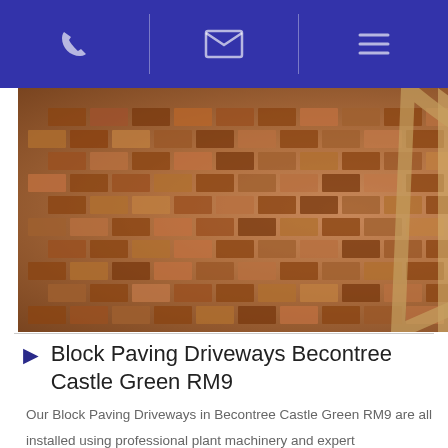[phone icon] [email icon] [menu icon]
[Figure (photo): Circular block paving driveway with multi-colored bricks arranged in a radial fan pattern, with curved edging stones]
Block Paving Driveways Becontree Castle Green RM9
Our Block Paving Driveways in Becontree Castle Green RM9 are all installed using professional plant machinery and expert craftsmanship by our experienced team in Becontree Castle Green RM9. Our block paving driveway installers have years of experience and all of